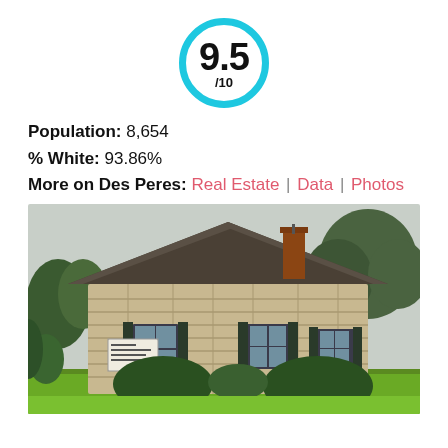[Figure (other): Score badge: 9.5/10 inside a cyan/teal circle]
Population: 8,654
% White: 93.86%
More on Des Peres: Real Estate | Data | Photos
[Figure (photo): Photo of a stone cottage-style building with dark shingled roof, brick chimney, black shuttered windows, trimmed hedges in front, sign in yard reading Old Des Peres Church, trees in background, green lawn in foreground.]